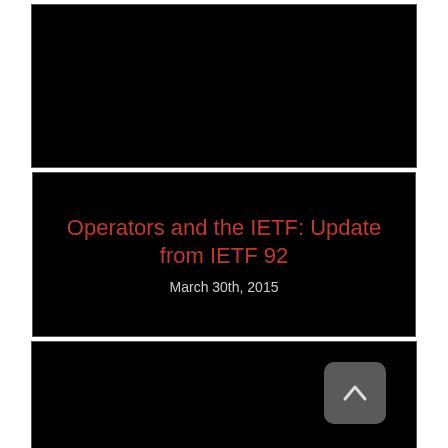[Figure (screenshot): Top black slide panel, part of a presentation thumbnail view]
Operators and the IETF: Update from IETF 92
March 30th, 2015
[Figure (screenshot): Bottom black slide panel with a grey navigation arrow button in the lower right]